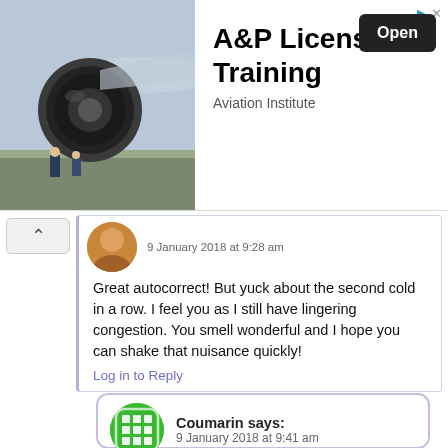[Figure (screenshot): Ad banner for A&P License Training by Aviation Institute with an image of airplane jet engine and workers, and an 'Open' button]
9 January 2018 at 9:28 am
Great autocorrect! But yuck about the second cold in a row. I feel you as I still have lingering congestion. You smell wonderful and I hope you can shake that nuisance quickly!
Log in to Reply
Coumarin says:
9 January 2018 at 9:41 am
I didn't know how I missed that one! What's worse is having just run through all of my OTC medicines, I had to buy it all again! Chamade is